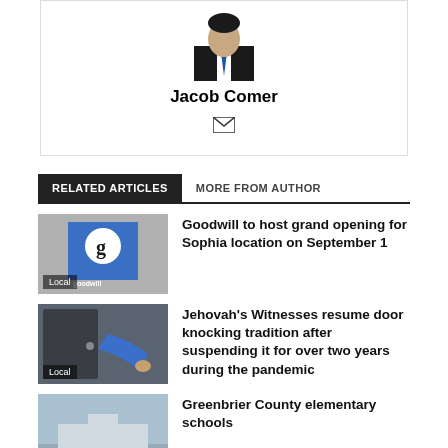[Figure (photo): Author profile photo of Jacob Comer in a suit]
Jacob Comer
[Figure (illustration): Email envelope icon]
RELATED ARTICLES   MORE FROM AUTHOR
[Figure (photo): Goodwill store logo thumbnail with 'Local' badge]
Goodwill to host grand opening for Sophia location on September 1
[Figure (photo): Person knocking on door thumbnail with 'Local' badge]
Jehovah's Witnesses resume door knocking tradition after suspending it for over two years during the pandemic
[Figure (photo): Greenbrier County elementary schools thumbnail]
Greenbrier County elementary schools